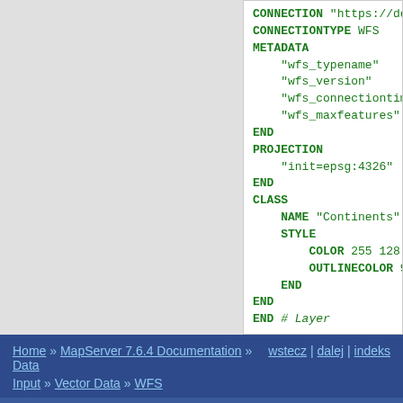[Figure (screenshot): Code block showing MapServer layer configuration with WFS connection settings including CONNECTION, CONNECTIONTYPE, METADATA, PROJECTION, CLASS, NAME, STYLE, COLOR, OUTLINECOLOR, and END directives in green monospace font on white background.]
Home » MapServer 7.6.4 Documentation » Data Input » Vector Data » WFS    wstecz | dalej | indeks
© Copyright 2022, Open Source Geospatial Foundation. Ostatnia modyfikacja 2022-05-20. Created using Sphinx 4.5.0.